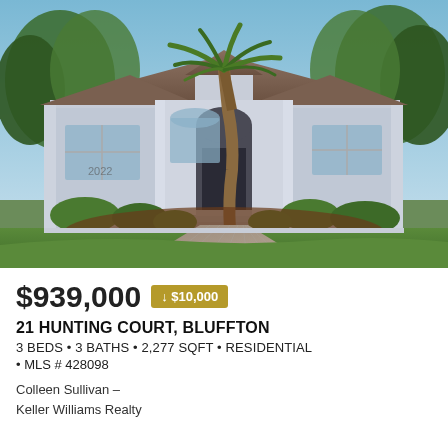[Figure (photo): Exterior photo of a single-story residential home with gray stucco facade, arched entryway, palm trees, manicured landscaping, and brick paver driveway at 21 Hunting Court, Bluffton.]
$939,000 ↓ $10,000
21 HUNTING COURT, BLUFFTON
3 BEDS • 3 BATHS • 2,277 SQFT • RESIDENTIAL
• MLS # 428098
Colleen Sullivan –
Keller Williams Realty